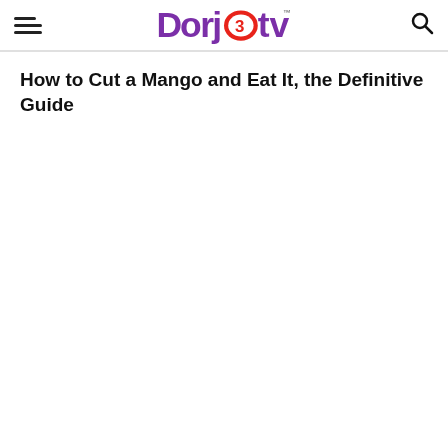Dorj3tv
How to Cut a Mango and Eat It, the Definitive Guide